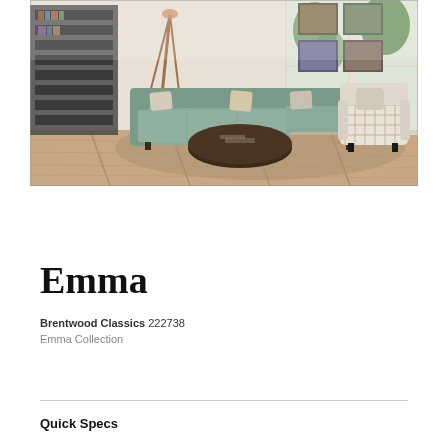[Figure (photo): Living room interior with a light teal/sage sectional sofa, patterned armchair, dark round coffee table, floor lamp, bookshelf, and large windows with green trees visible outside. Hardwood floors with an area rug.]
Emma
Brentwood Classics 222738
Emma Collection
Quick Specs